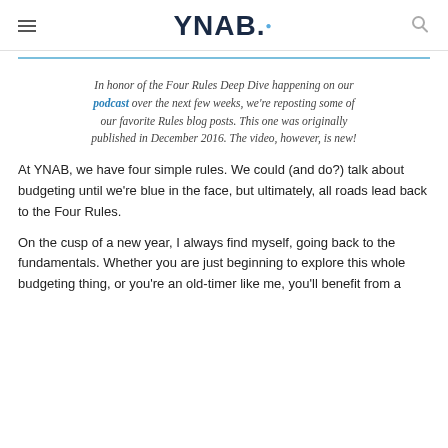YNAB.
In honor of the Four Rules Deep Dive happening on our podcast over the next few weeks, we're reposting some of our favorite Rules blog posts. This one was originally published in December 2016. The video, however, is new!
At YNAB, we have four simple rules. We could (and do?) talk about budgeting until we're blue in the face, but ultimately, all roads lead back to the Four Rules.
On the cusp of a new year, I always find myself, going back to the fundamentals. Whether you are just beginning to explore this whole budgeting thing, or you're an old-timer like me, you'll benefit from a